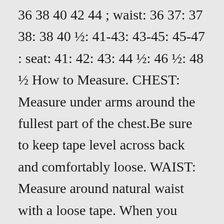36 38 40 42 44 ; waist: 36 37: 37 38: 38 40 ½: 41-43: 43-45: 45-47 : seat: 41: 42: 43: 44 ½: 46 ½: 48 ½ How to Measure. CHEST: Measure under arms around the fullest part of the chest.Be sure to keep tape level across back and comfortably loose. WAIST: Measure around natural waist with a loose tape. When you have your neck measurement, round it up to the nearest whole or half size. For example, if your neck measures 16.3, choose a 16.5 collar.